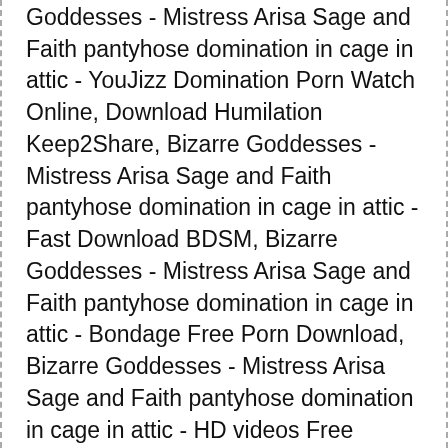Goddesses - Mistress Arisa Sage and Faith pantyhose domination in cage in attic - YouJizz Domination Porn Watch Online, Download Humilation Keep2Share, Bizarre Goddesses - Mistress Arisa Sage and Faith pantyhose domination in cage in attic - Fast Download BDSM, Bizarre Goddesses - Mistress Arisa Sage and Faith pantyhose domination in cage in attic - Bondage Free Porn Download, Bizarre Goddesses - Mistress Arisa Sage and Faith pantyhose domination in cage in attic - HD videos Free LezDom Porn Download, Bizarre Goddesses - Mistress Arisa Sage and Faith pantyhose domination in cage in attic - JOI/JOE Kostenlose Pornos, Download CEI/SPH HitFile, Bizarre Goddesses - Mistress Arisa Sage and Faith pantyhose domination in cage in atticHardcore женское доминирование скачать, Bizarre Goddesses - Mistress Arisa Sage and Faith pantyhose domination in cage in atticReality скачать бесплатно унижение, FBoom.me links, Bizarre Goddesses - Mistress Arisa Sage and Faith pantyhose